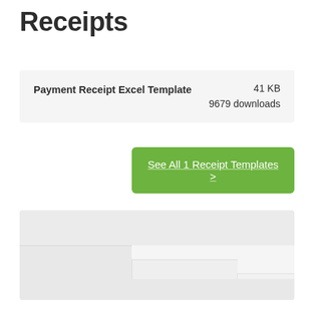Receipts
| Name | Size | Downloads |
| --- | --- | --- |
| Payment Receipt Excel Template | 41 KB | 9679 downloads |
See All 1 Receipt Templates >
[Figure (screenshot): Preview of receipt template thumbnails showing stacked card/document layout in light gray boxes]